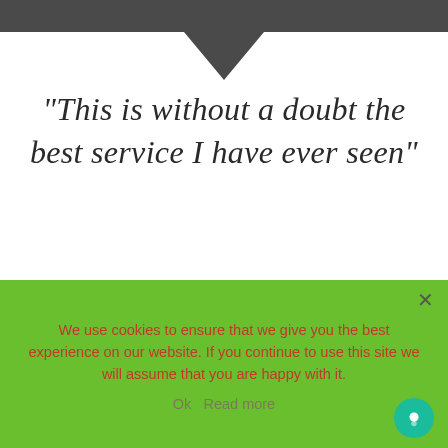[Figure (other): Dark gray top bar with downward pointing triangle/arrow below it]
"This is without a doubt the best service I have ever seen"
I was extremely satisfied with the service provided. The driver was professional and courteous. He was also punctual and ensured
We use cookies to ensure that we give you the best experience on our website. If you continue to use this site we will assume that you are happy with it.
Ok  Read more